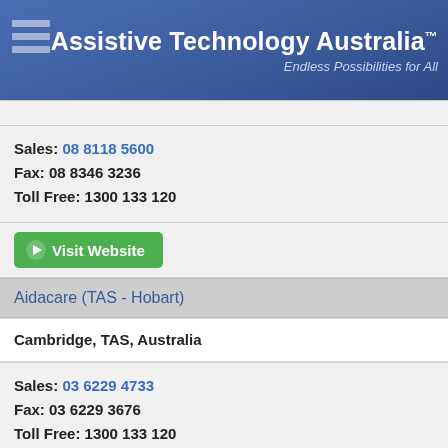Assistive Technology Australia™ — Endless Possibilities for All
Sales: 08 8118 5600
Fax: 08 8346 3236
Toll Free: 1300 133 120
Visit Website
Aidacare (TAS - Hobart)
Cambridge, TAS, Australia
Sales: 03 6229 4733
Fax: 03 6229 3676
Toll Free: 1300 133 120
Visit Website
Aidacare (TAS - Launceston)
Kings Meadows, TAS, Australia
Sales: 03 6344 8922
Fax: 03 6229 3676